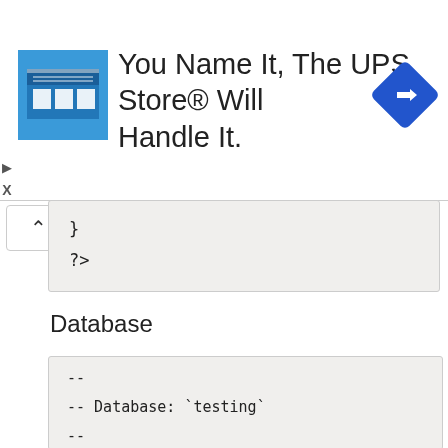[Figure (infographic): UPS Store advertisement banner with blue store icon, text 'You Name It, The UPS Store® Will Handle It.' and a blue navigation diamond icon on the right]
}
?>
Database
--
-- Database: `testing`
--

-- -----------------------------------------

--